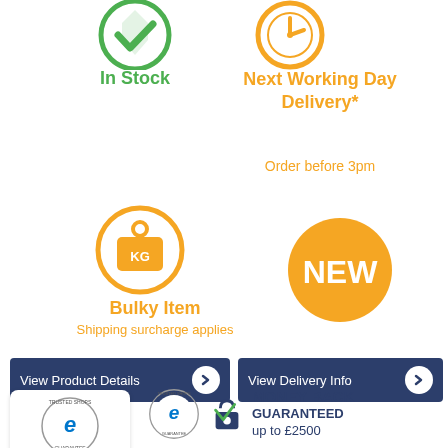[Figure (illustration): Green checkmark shield icon for In Stock]
In Stock
[Figure (illustration): Orange clock icon for Next Working Day Delivery]
Next Working Day Delivery*
Order before 3pm
[Figure (illustration): Orange circle with KG weight icon for Bulky Item]
[Figure (illustration): Orange circle badge with NEW text]
Bulky Item
Shipping surcharge applies
View Product Details
View Delivery Info
[Figure (logo): Trusted Shops guarantee logo with 4.93 rating and 5 stars]
[Figure (logo): Trusted Shops Money Back Guaranteed up to £2500 with stars]